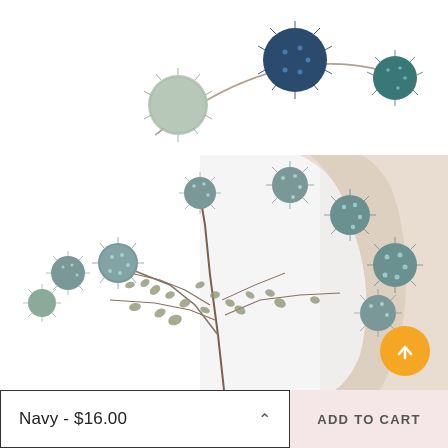[Figure (photo): Top strip showing decorative dried globe thistle flowers (echinops) in blue-grey and navy tones arranged on a white background, resembling a garland or arrangement arc]
[Figure (photo): Product photo of dried blue-grey globe thistle (echinops) stems with round spiky flower heads arranged in a bouquet against a white background with a soft cream fabric or vase shape in the background]
Navy - $16.00
ADD TO CART